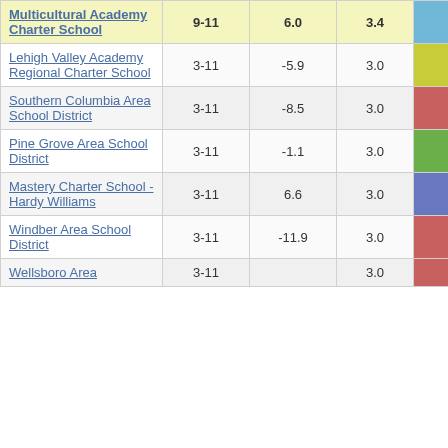| School | Grades | Col3 | Col4 | Score |
| --- | --- | --- | --- | --- |
| Multicultural Academy Charter School | 9-11 | 6.0 | 3.4 | 1.77 |
| Lehigh Valley Academy Regional Charter School | 3-11 | -5.9 | 3.0 | -1.98 |
| Southern Columbia Area School District | 3-11 | -8.5 | 3.0 | -2.83 |
| Pine Grove Area School District | 3-11 | -1.1 | 3.0 | -0.36 |
| Mastery Charter School - Hardy Williams | 3-11 | 6.6 | 3.0 | 2.21 |
| Windber Area School District | 3-11 | -11.9 | 3.0 | -3.94 |
| Wellsboro Area | 3-11 |  | 3.0 |  |